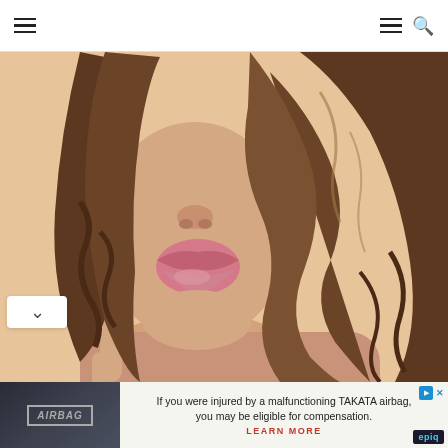Navigation bar with hamburger menu icons and search icon
[Figure (photo): Close-up photo of a young woman with long wavy brown hair, puckering her lips, touching her chin with one finger, against a peach/beige background.]
If you were injured by a malfunctioning TAKATA airbag, you may be eligible for compensation. LEARN MORE